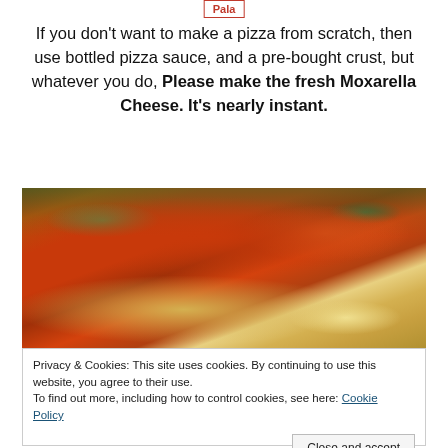Pala
If you don't want to make a pizza from scratch, then use bottled pizza sauce, and a pre-bought crust, but whatever you do, Please make the fresh Moxarella Cheese. It's nearly instant.
[Figure (photo): Close-up photo of pizza slices with tomato sauce, green herbs/basil, and golden-brown crust]
Privacy & Cookies: This site uses cookies. By continuing to use this website, you agree to their use.
To find out more, including how to control cookies, see here: Cookie Policy
Close and accept